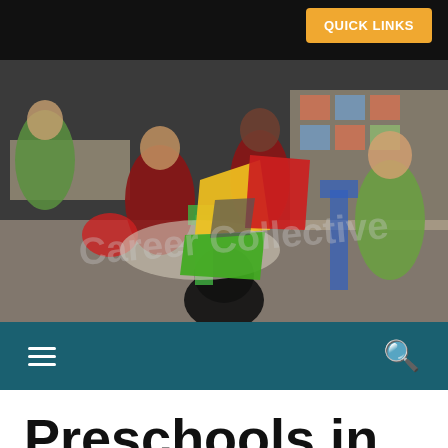QUICK LINKS
[Figure (photo): Children in red uniforms sitting around tables in a classroom, working on activities. A colorful Career Collective logo (with green, yellow, red polygonal shapes) is overlaid in the center of the image, along with a semi-transparent 'Career Collective' watermark text.]
Navigation bar with hamburger menu icon and search icon
Preschools in